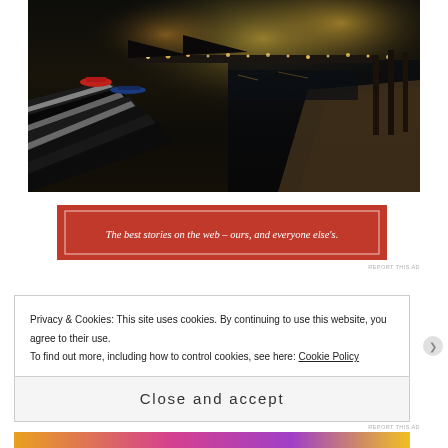[Figure (photo): Night photograph of a marina/dock area with boats, wooden pier structures in the foreground, lights reflecting on water, and a crowded waterfront in the background.]
[Figure (infographic): Red advertisement banner with italic serif text: 'The best stories on the web – ours, and everyone else's.' with a thin border outline inside.]
REPORT THIS AD
Privacy & Cookies: This site uses cookies. By continuing to use this website, you agree to their use.
To find out more, including how to control cookies, see here: Cookie Policy
Close and accept
REPORT THIS AD